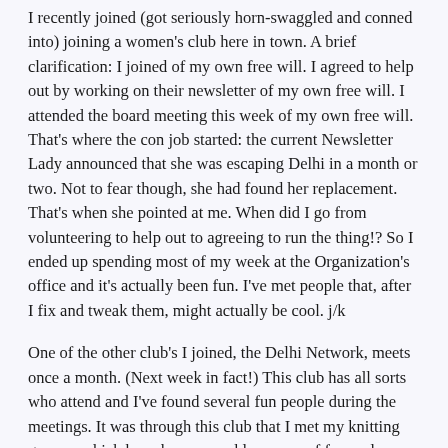I recently joined (got seriously horn-swaggled and conned into) joining a women's club here in town. A brief clarification: I joined of my own free will. I agreed to help out by working on their newsletter of my own free will. I attended the board meeting this week of my own free will. That's where the con job started: the current Newsletter Lady announced that she was escaping Delhi in a month or two. Not to fear though, she had found her replacement. That's when she pointed at me. When did I go from volunteering to help out to agreeing to run the thing!? So I ended up spending most of my week at the Organization's office and it's actually been fun. I've met people that, after I fix and tweak them, might actually be cool. j/k
One of the other club's I joined, the Delhi Network, meets once a month. (Next week in fact!) This club has all sorts who attend and I've found several fun people during the meetings. It was through this club that I met my knitting groups, which have been a weekly source of fun and something to do. In yet another in a series rather lame attempt to make friends in Delhi, I randomly called up one of the women I met at the DN and arranged to get together to do lunch. Lame but successful it would seem.